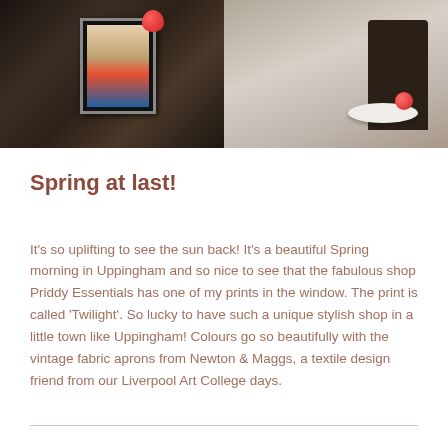[Figure (photo): Two-panel photo strip at top of page. Left panel shows a dark surface (possibly a table or tray) with a framed print displaying colorful artwork and a red apple nearby. Right panel shows a lighter scene with a dark chair and a white plate with red items, suggesting a shop or studio interior.]
Spring at last!
It's so uplifting to see the sun back!  It's a beautiful Spring morning in Uppingham and so nice to see that the fabulous shop Priddy Essentials has one of my prints in the window. The print is called 'Twilight'. So lucky to have such a unique stylish shop in a little town like Uppingham!  Colours go so beautifully with the vintage fabric aprons from Newton & Maggs, a textile design friend from our Liverpool Art College days.